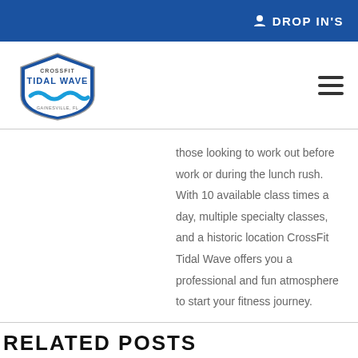DROP IN'S
[Figure (logo): CrossFit Tidal Wave logo — shield shape with wave graphic]
those looking to work out before work or during the lunch rush. With 10 available class times a day, multiple specialty classes, and a historic location CrossFit Tidal Wave offers you a professional and fun atmosphere to start your fitness journey.
RELATED POSTS
[Figure (other): WOD badge (blue rectangle with white text 'WOD') and a gray scroll-to-top button with upward arrow]